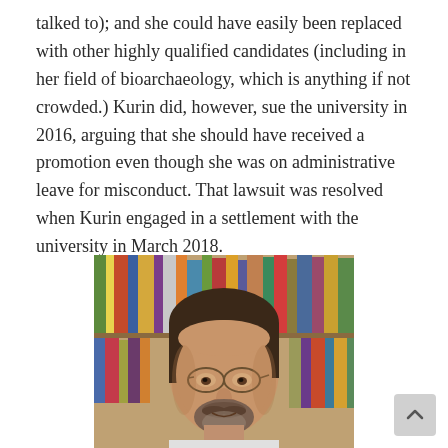talked to); and she could have easily been replaced with other highly qualified candidates (including in her field of bioarchaeology, which is anything if not crowded.) Kurin did, however, sue the university in 2016, arguing that she should have received a promotion even though she was on administrative leave for misconduct. That lawsuit was resolved when Kurin engaged in a settlement with the university in March 2018.
[Figure (photo): Portrait photo of a middle-aged man with dark hair, glasses, and a beard, photographed in front of a bookshelf with colorful book spines.]